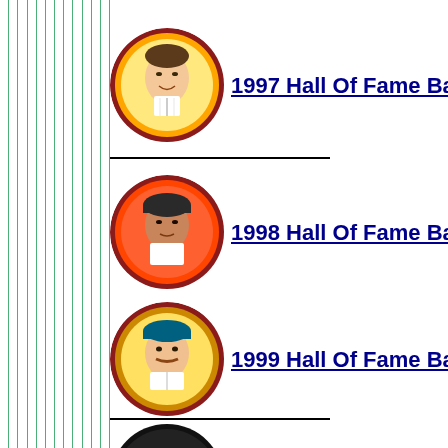[Figure (illustration): Baseball coin/pin with painted portrait of a player in pinstripe uniform on yellow background with orange border, labeled 1997 Hall Of Fame Ba...]
[Figure (illustration): Baseball coin/pin with painted portrait of a player in white uniform on orange background, labeled 1998 Hall Of Fame Ba...]
[Figure (illustration): Baseball coin/pin with painted portrait of a player in blue cap and pinstripe uniform on yellow background, labeled 1999 Hall Of Fame Ba...]
[Figure (illustration): Partial view of another baseball coin/pin at the bottom of the page]